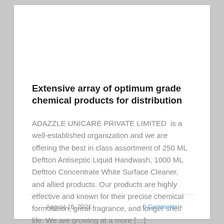Extensive array of optimum grade chemical products for distribution
ADAZZLE UNICARE PRIVATE LIMITED  is a well-established organization and we are offering the best in class assortment of 250 ML Deftton Antiseptic Liquid Handwash, 1000 ML Deftton Concentrate White Surface Cleaner, and allied products. Our products are highly effective and known for their precise chemical formulation, great fragrance, and longer shelf life. We are growing at a more [...]
August 16, 2021   0 Comments